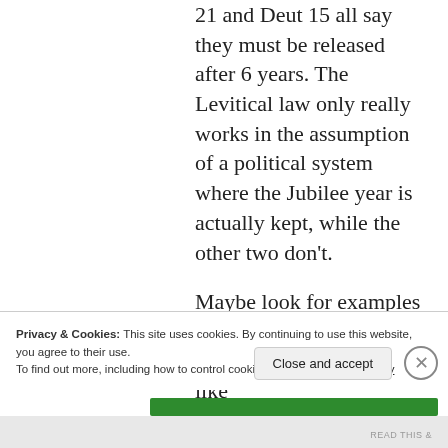21 and Deut 15 all say they must be released after 6 years. The Levitical law only really works in the assumption of a political system where the Jubilee year is actually kept, while the other two don't.
Maybe look for examples of legal evolution in the Hebrew bible? This seems like something scholars would
Privacy & Cookies: This site uses cookies. By continuing to use this website, you agree to their use.
To find out more, including how to control cookies, see here: Cookie Policy
Close and accept